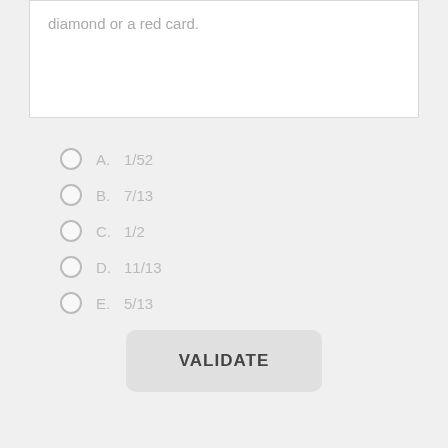diamond or a red card.
A.  1/52
B.  7/13
C.  1/2
D.  11/13
E.  5/13
VALIDATE